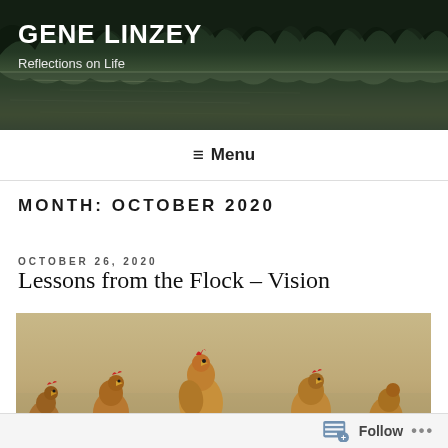[Figure (photo): Header banner showing a scenic lake reflection with dark forest trees and mountains in the background]
GENE LINZEY
Reflections on Life
≡ Menu
MONTH: OCTOBER 2020
OCTOBER 26, 2020
Lessons from the Flock – Vision
[Figure (photo): Photo of several golden/brown chickens (hens) in a farmyard setting on sandy/gravelly ground]
Follow ...